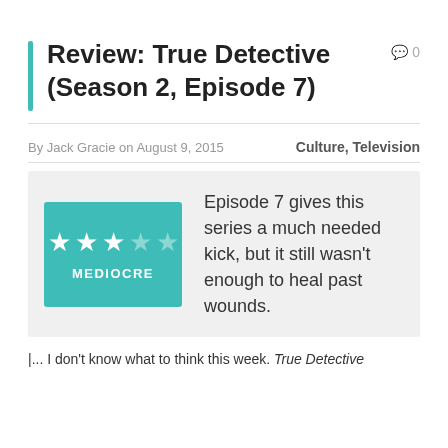Review: True Detective (Season 2, Episode 7)
By Jack Gracie on August 9, 2015   Culture, Television
[Figure (infographic): Rating badge showing 3 out of 5 stars with label MEDIOCRE on teal background, with text: Episode 7 gives this series a much needed kick, but it still wasn't enough to heal past wounds.]
|... I don't know what to think this week. True Detective